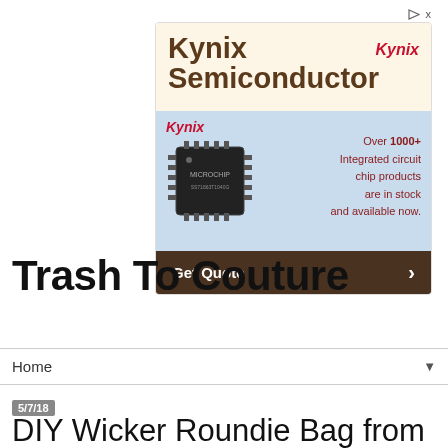[Figure (screenshot): Kynix Semiconductor advertisement banner featuring a microchip image, text 'Over 1000+ Integrated circuit chip products are in stock and available now.' and a 'Get Quote' button.]
Trash To Couture
Home
5/7/18
DIY Wicker Roundie Bag from